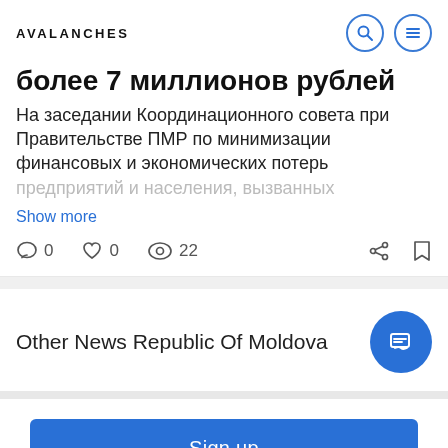AVALANCHES
более 7 миллионов рублей
На заседании Координационного совета при Правительстве ПМР по минимизации финансовых и экономических потерь предприятий и населения, вызванных
Show more
0  0  22
Other News Republic Of Moldova
Sign up